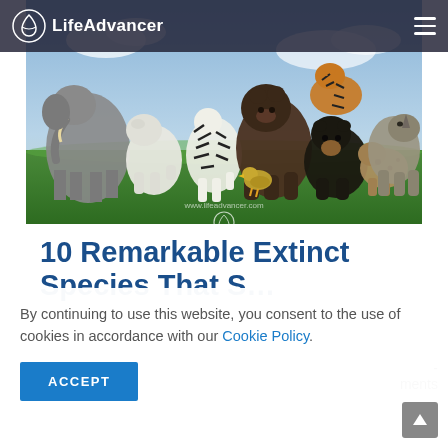LifeAdvancer
[Figure (photo): A group of various wild animals including elephant, polar bear, zebra, grizzly bear, tiger, black bear, rhino, hyena, and a duck on green grass with a blue sky background. The website URL www.lifeadvancer.com is visible. LifeAdvancer logo watermark at the bottom.]
10 Remarkable Extinct Species That S...
By continuing to use this website, you consent to the use of cookies in accordance with our Cookie Policy.
ACCEPT